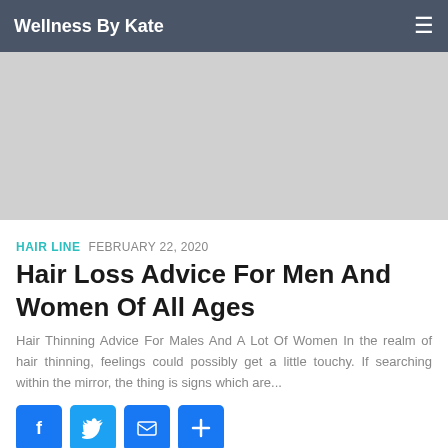Wellness By Kate
[Figure (photo): Light gray placeholder image for article hero/banner]
HAIR LINE  FEBRUARY 22, 2020
Hair Loss Advice For Men And Women Of All Ages
Hair Thinning Advice For Males And A Lot Of Women In the realm of hair thinning, feelings could possibly get a little touchy. If searching within the mirror, the thing is signs which are...
[Figure (infographic): Social share buttons: Facebook, Twitter, Email, Plus]